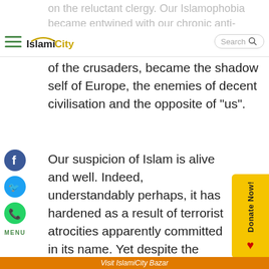IslamiCity [navigation bar with search]
on the reluctant clergy. Our Islamophobia became entwined with our chronic anti-Semitism; Jews and Muslims, the victims of the crusaders, became the shadow self of Europe, the enemies of decent civilisation and the opposite of "us".
Our suspicion of Islam is alive and well. Indeed, understandably perhaps, it has hardened as a result of terrorist atrocities apparently committed in its name. Yet despite the religious rhetoric, these terrorists are motivated by politics rather than religion. Like "fundamentalists" in other traditions, their ideology is deliberately and
Visit IslamiCity Bazar